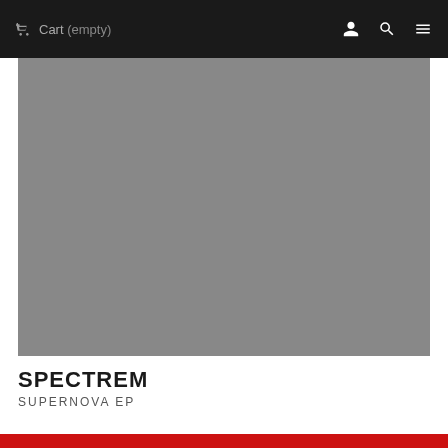Cart (empty)
[Figure (photo): Album artwork placeholder — solid grey square image for Spectrem Supernova EP]
SPECTREM
SUPERNOVA EP